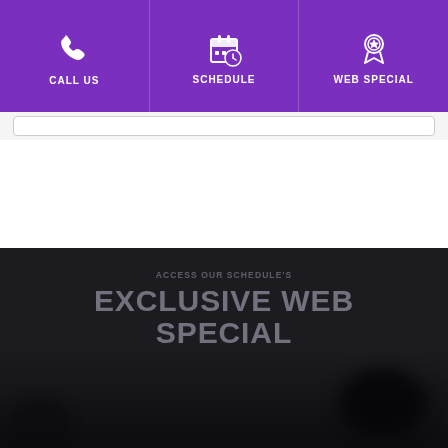CALL US | SCHEDULE | WEB SPECIAL
[Figure (screenshot): Dark promotional banner with overlaid text: 'ACCESS OUR SCHEDULE'S EXCLUSIVE WEB SPECIAL']
ACCESS OUR SCHEDULE'S
EXCLUSIVE WEB SPECIAL